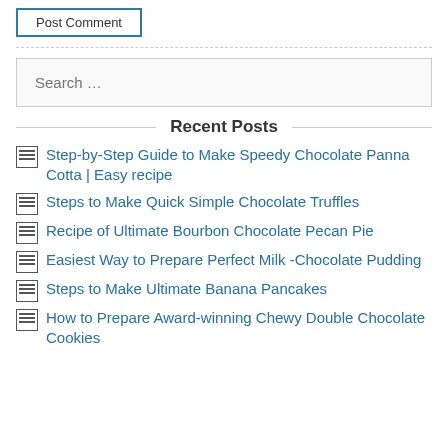Post Comment
Recent Posts
Step-by-Step Guide to Make Speedy Chocolate Panna Cotta | Easy recipe
Steps to Make Quick Simple Chocolate Truffles
Recipe of Ultimate Bourbon Chocolate Pecan Pie
Easiest Way to Prepare Perfect Milk -Chocolate Pudding
Steps to Make Ultimate Banana Pancakes
How to Prepare Award-winning Chewy Double Chocolate Cookies